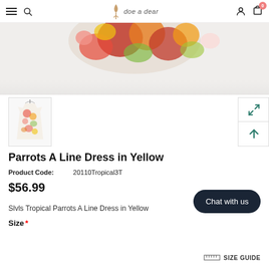doe a dear — navigation header with hamburger, search, logo, user, cart
[Figure (photo): Cropped product shot showing top of a floral A-line dress with tropical parrot print in red, orange, green and yellow on white background]
[Figure (photo): Thumbnail image of the Parrots A Line Dress in Yellow — full dress view on hanger, floral tropical print]
Parrots A Line Dress in Yellow
Product Code:    20110Tropical3T
$56.99
Slvls Tropical Parrots A Line Dress in Yellow
Size *